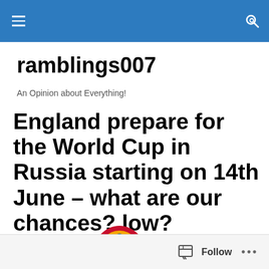ramblings007 — navigation header with hamburger menu and search icon
ramblings007
An Opinion about Everything!
England prepare for the World Cup in Russia starting on 14th June – what are our chances? low?
[Figure (illustration): 2018 FIFA World Cup Russia official logo/emblem showing a stylized ball shape in red and gold with blue geometric gem shapes]
Follow  •••